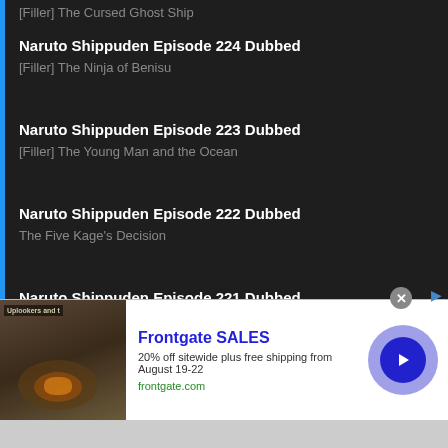[Filler] The Cursed Ghost Ship
Naruto Shippuden Episode 224 Dubbed
[Filler] The Ninja of Benisu
Naruto Shippuden Episode 223 Dubbed
[Filler] The Young Man and the Ocean
Naruto Shippuden Episode 222 Dubbed
The Five Kage's Decision
Naruto Shippuden Episode 221 Dubbed
Storage
Naruto Shippuden Episode 220 Dubbed
The Great Toad's Prediction
Naruto Shippuden Episode 219 Dubbed (partial)
[Figure (screenshot): Frontgate SALES advertisement banner: '20% off sitewide plus free shipping from August 19-22', frontgate.com, with outdoor furniture image and blue arrow button]